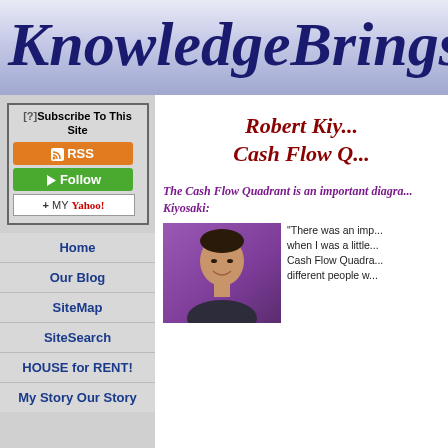KnowledgeBringsM
[?]Subscribe To This Site
[Figure (other): RSS subscription button (orange)]
[Figure (other): Follow button (green)]
[Figure (other): My Yahoo button]
Home
Our Blog
SiteMap
SiteSearch
HOUSE for RENT!
My Story Our Story
Robert Kiy... Cash Flow Q...
The Cash Flow Quadrant is an important diagra... Kiyosaki:
[Figure (photo): Photo of Robert Kiyosaki smiling against purple background]
"There was an imp... when I was a little... Cash Flow Quadra... different people w...